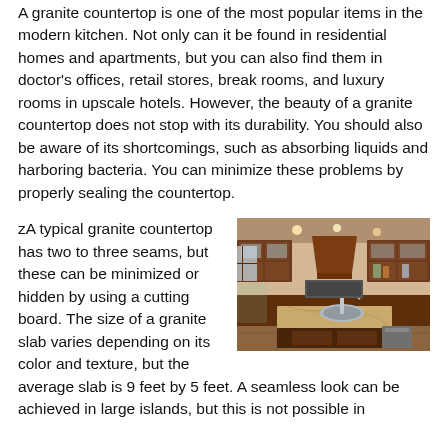A granite countertop is one of the most popular items in the modern kitchen. Not only can it be found in residential homes and apartments, but you can also find them in doctor's offices, retail stores, break rooms, and luxury rooms in upscale hotels. However, the beauty of a granite countertop does not stop with its durability. You should also be aware of its shortcomings, such as absorbing liquids and harboring bacteria. You can minimize these problems by properly sealing the countertop.
zA typical granite countertop has two to three seams, but these can be minimized or hidden by using a cutting board. The size of a granite slab varies depending on its color and texture, but the average slab is 9 feet by 5 feet. A seamless look can be achieved in large islands, but this is not possible in
[Figure (photo): Photo of a luxury kitchen with dark wood cabinets, granite countertop island with sink, decorative range hood, and large windows.]